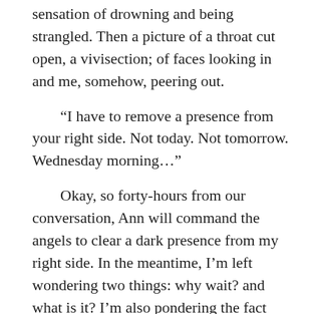sensation of drowning and being strangled. Then a picture of a throat cut open, a vivisection; of faces looking in and me, somehow, peering out.
“I have to remove a presence from your right side. Not today. Not tomorrow. Wednesday morning…”
Okay, so forty-hours from our conversation, Ann will command the angels to clear a dark presence from my right side. In the meantime, I’m left wondering two things: why wait? and what is it? I’m also pondering the fact that all beings are welcome in my spirit-space and how difficult it is for me to deem any evil. To me they are all my children and getting rid of them seems cruel and unloving.